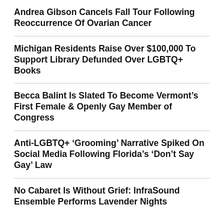Andrea Gibson Cancels Fall Tour Following Reoccurrence Of Ovarian Cancer
Michigan Residents Raise Over $100,000 To Support Library Defunded Over LGBTQ+ Books
Becca Balint Is Slated To Become Vermont’s First Female & Openly Gay Member of Congress
Anti-LGBTQ+ ‘Grooming’ Narrative Spiked On Social Media Following Florida’s ‘Don’t Say Gay’ Law
No Cabaret Is Without Grief: InfraSound Ensemble Performs Lavender Nights